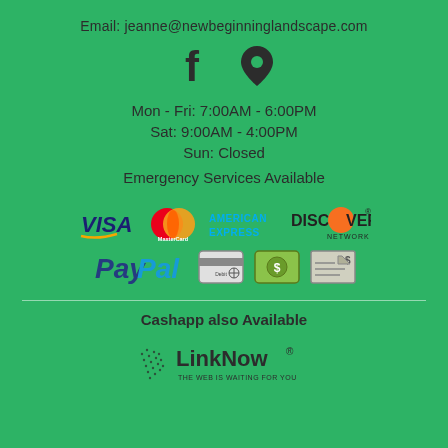Email: jeanne@newbeginninglandscape.com
[Figure (infographic): Facebook icon and map pin/location icon]
Mon - Fri: 7:00AM - 6:00PM
Sat: 9:00AM - 4:00PM
Sun: Closed
Emergency Services Available
[Figure (infographic): Payment method logos: Visa, MasterCard, American Express, Discover Network, PayPal, Debit card, Cash, Check icons]
Cashapp also Available
[Figure (logo): LinkNow logo with tagline THE WEB IS WAITING FOR YOU]